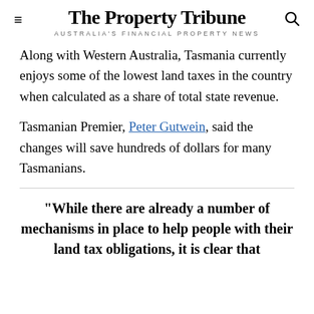The Property Tribune
AUSTRALIA'S FINANCIAL PROPERTY NEWS
Along with Western Australia, Tasmania currently enjoys some of the lowest land taxes in the country when calculated as a share of total state revenue.
Tasmanian Premier, Peter Gutwein, said the changes will save hundreds of dollars for many Tasmanians.
“While there are already a number of mechanisms in place to help people with their land tax obligations, it is clear that